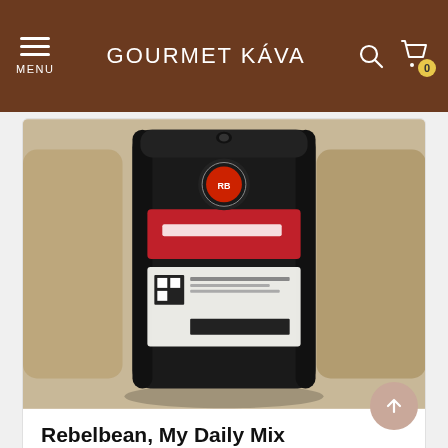GOURMET KÁVA
[Figure (photo): Black coffee bag with red and white label reading 'My Daily Mix' by Rebelbean, displayed against a background of coffee beans]
Rebelbean, My Daily Mix
In stock
12.03 €
[Figure (photo): White coffee bag with circular logo reading 'Kafe Francin' showing a coffee cup icon, partially visible at the bottom of the page]